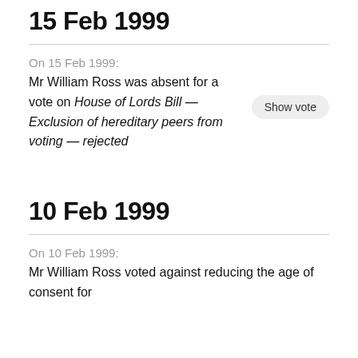15 Feb 1999
On 15 Feb 1999:
Mr William Ross was absent for a vote on House of Lords Bill — Exclusion of hereditary peers from voting — rejected
10 Feb 1999
On 10 Feb 1999:
Mr William Ross voted against reducing the age of consent for